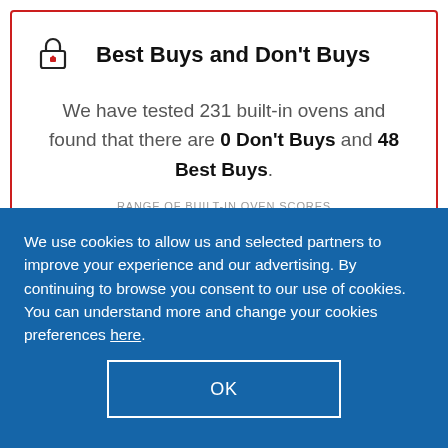Best Buys and Don't Buys
We have tested 231 built-in ovens and found that there are 0 Don't Buys and 48 Best Buys.
RANGE OF BUILT-IN OVEN SCORES
[Figure (infographic): A horizontal score range bar with two grey dots and a red 'BEST BUY' circular badge on the right end]
We use cookies to allow us and selected partners to improve your experience and our advertising. By continuing to browse you consent to our use of cookies. You can understand more and change your cookies preferences here.